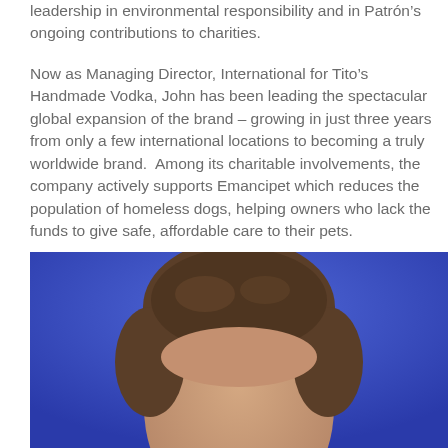leadership in environmental responsibility and in Patrón's ongoing contributions to charities.
Now as Managing Director, International for Tito's Handmade Vodka, John has been leading the spectacular global expansion of the brand – growing in just three years from only a few international locations to becoming a truly worldwide brand.  Among its charitable involvements, the company actively supports Emancipet which reduces the population of homeless dogs, helping owners who lack the funds to give safe, affordable care to their pets.
[Figure (photo): Headshot photo of a man with short brown hair against a blue background, cropped to show only the top of the head/hair at the bottom portion of the page.]